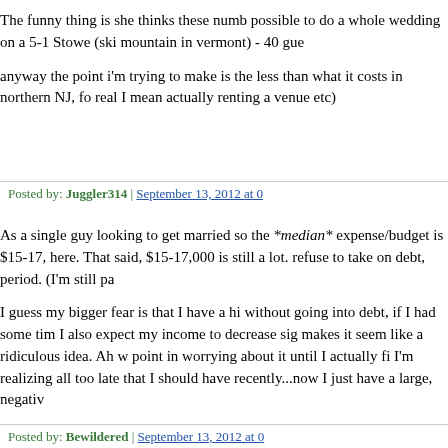The funny thing is she thinks these numb possible to do a whole wedding on a 5-1 Stowe (ski mountain in vermont) - 40 gue
anyway the point i'm trying to make is the less than what it costs in northern NJ, fo real I mean actually renting a venue etc)
Posted by: Juggler314 | September 13, 2012 at 0
As a single guy looking to get married so the *median* expense/budget is $15-17, here. That said, $15-17,000 is still a lot. refuse to take on debt, period. (I'm still pa
I guess my bigger fear is that I have a hi without going into debt, if I had some tim I also expect my income to decrease sig makes it seem like a ridiculous idea. Ah w point in worrying about it until I actually fi I'm realizing all too late that I should have recently...now I just have a large, negativ
Posted by: Bewildered | September 13, 2012 at 0